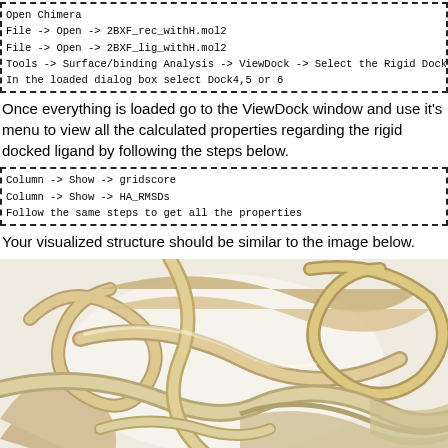Open Chimera
File -> Open -> 2BXF_rec_withH.mol2
File -> Open -> 2BXF_lig_withH.mol2
Tools -> Surface/binding Analysis -> ViewDock -> Select the Rigid Dock
In the loaded dialog box select Dock4,5 or 6
Once everything is loaded go to the ViewDock window and use it's menu to view all the calculated properties regarding the rigid docked ligand by following the steps below.
Column -> Show -> gridscore
Column -> Show -> HA_RMSDs
Follow the same steps to get all the properties
Your visualized structure should be similar to the image below.
[Figure (illustration): 3D ribbon/tube visualization of a protein structure rendered in Chimera, showing tan/beige colored coiled and looped ribbons representing the protein backbone against a white background.]